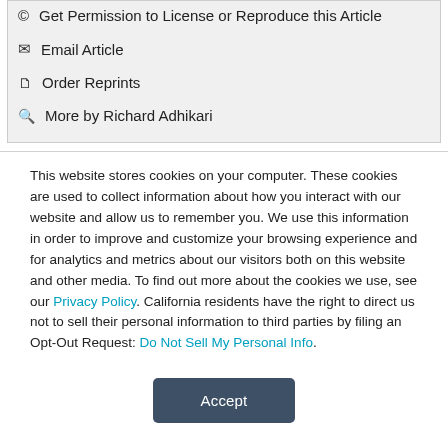© Get Permission to License or Reproduce this Article
✉ Email Article
Order Reprints
🔍 More by Richard Adhikari
This website stores cookies on your computer. These cookies are used to collect information about how you interact with our website and allow us to remember you. We use this information in order to improve and customize your browsing experience and for analytics and metrics about our visitors both on this website and other media. To find out more about the cookies we use, see our Privacy Policy. California residents have the right to direct us not to sell their personal information to third parties by filing an Opt-Out Request: Do Not Sell My Personal Info.